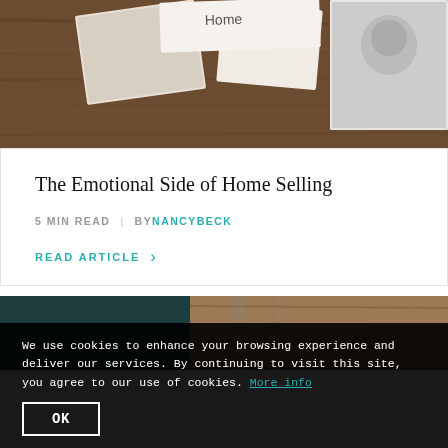[Figure (photo): Photo of a wooden table surface with printed photographs and cards laid on it, a black-and-white photo of a baby visible on the right]
The Emotional Side of Home Selling
5 MIN READ | BY NANCY BECK
READ ARTICLE >
[Figure (photo): Two side-by-side photos: left is a dark teal/green interior room, right is a wooden shelving or cabinet interior]
We use cookies to enhance your browsing experience and deliver our services. By continuing to visit this site, you agree to our use of cookies. More info
OK